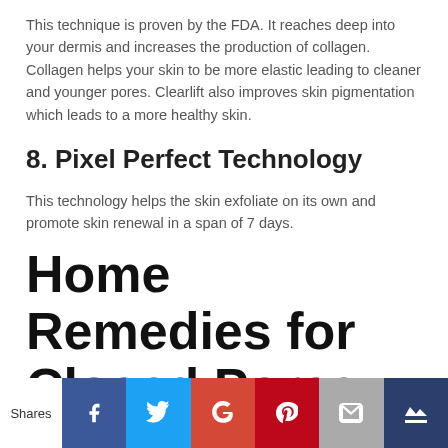This technique is proven by the FDA. It reaches deep into your dermis and increases the production of collagen. Collagen helps your skin to be more elastic leading to cleaner and younger pores. Clearlift also improves skin pigmentation which leads to a more healthy skin.
8. Pixel Perfect Technology
This technology helps the skin exfoliate on its own and promote skin renewal in a span of 7 days.
Home Remedies for Closed Pores
Shares